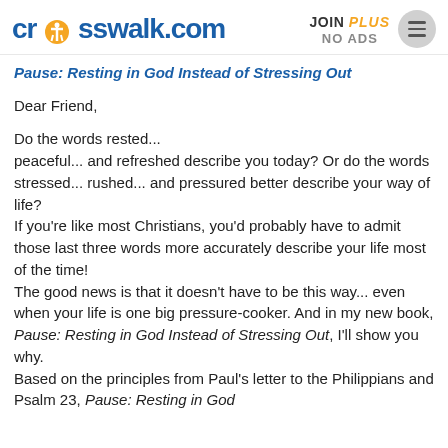crosswalk.com | JOIN PLUS NO ADS
Pause: Resting in God Instead of Stressing Out
Dear Friend,

Do the words rested... peaceful... and refreshed describe you today? Or do the words stressed... rushed... and pressured better describe your way of life?
If you're like most Christians, you'd probably have to admit those last three words more accurately describe your life most of the time!
The good news is that it doesn't have to be this way... even when your life is one big pressure-cooker. And in my new book, Pause: Resting in God Instead of Stressing Out, I'll show you why.
Based on the principles from Paul's letter to the Philippians and Psalm 23, Pause: Resting in God